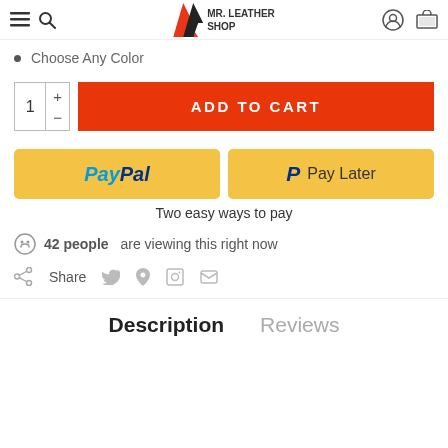MR. LEATHER SHOP
Choose Any Color
[Figure (screenshot): Add to Cart section with quantity selector showing 1 and orange ADD TO CART button]
[Figure (screenshot): PayPal and Pay Later yellow payment buttons]
Two easy ways to pay
42 people are viewing this right now
Share
Description
Reviews